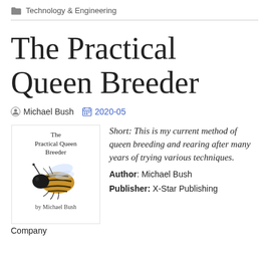Technology & Engineering
The Practical Queen Breeder
Michael Bush  2020-05
[Figure (photo): Book cover of 'The Practical Queen Breeder' by Michael Bush, showing a bee on a white background with the book title and author name]
Short: This is my current method of queen breeding and rearing after many years of trying various techniques.
Author: Michael Bush
Publisher: X-Star Publishing Company